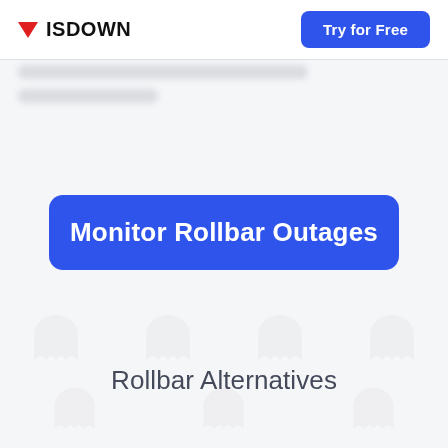ISDOWN | Try for Free
[Figure (screenshot): Blurred/redacted text lines showing censored content]
[Figure (other): Ghost/watermark icons in background]
Monitor Rollbar Outages
Rollbar Alternatives